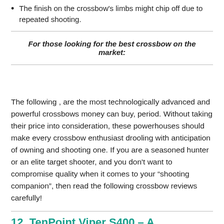The finish on the crossbow's limbs might chip off due to repeated shooting.
For those looking for the best crossbow on the market:
The following , are the most technologically advanced and powerful crossbows money can buy, period. Without taking their price into consideration, these powerhouses should make every crossbow enthusiast drooling with anticipation of owning and shooting one. If you are a seasoned hunter or an elite target shooter, and you don't want to compromise quality when it comes to your “shooting companion”, then read the following crossbow reviews carefully!
12. TenPoint Viper S400 – A Lightweight and Highly Maneuverable Weapon